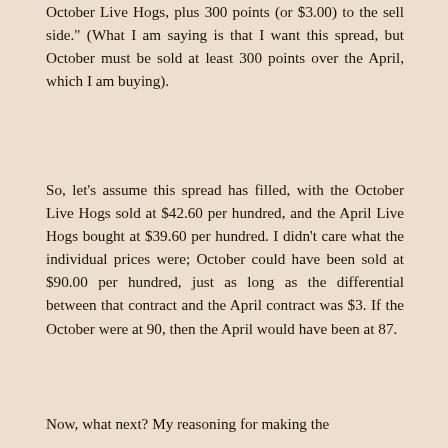October Live Hogs, plus 300 points (or $3.00) to the sell side." (What I am saying is that I want this spread, but October must be sold at least 300 points over the April, which I am buying).
So, let's assume this spread has filled, with the October Live Hogs sold at $42.60 per hundred, and the April Live Hogs bought at $39.60 per hundred. I didn't care what the individual prices were; October could have been sold at $90.00 per hundred, just as long as the differential between that contract and the April contract was $3. If the October were at 90, then the April would have been at 87.
Now, what next? My reasoning for making the